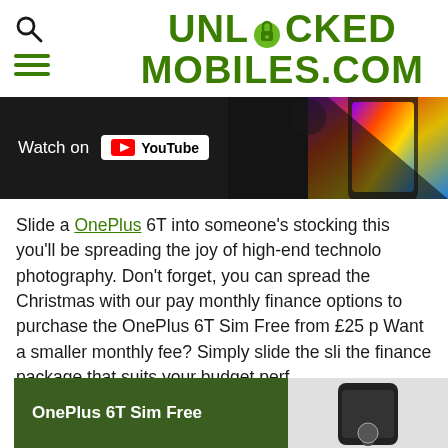[Figure (logo): Unlocked Mobiles .com logo in dark green, bold font with a padlock icon replacing the O in UNLOCKED]
[Figure (screenshot): YouTube video thumbnail showing a smartphone with colorful display, with 'Watch on YouTube' overlay on dark background]
Slide a OnePlus 6T into someone's stocking this you'll be spreading the joy of high-end technolo photography. Don't forget, you can spread the Christmas with our pay monthly finance options to purchase the OnePlus 6T Sim Free from £25 p Want a smaller monthly fee? Simply slide the sli the finance package that suits your budget perf
OnePlus 6T Sim Free